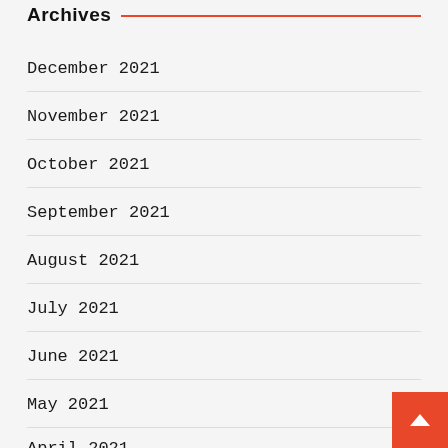Archives
December 2021
November 2021
October 2021
September 2021
August 2021
July 2021
June 2021
May 2021
April 2021